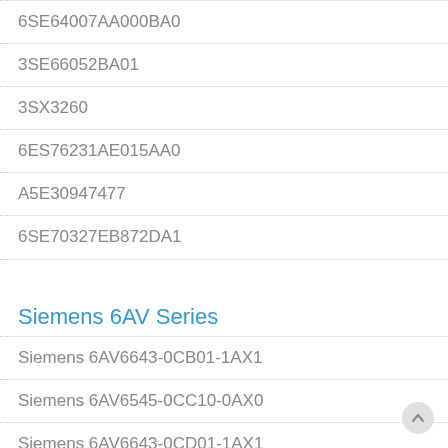6SE64007AA000BA0
3SE66052BA01
3SX3260
6ES76231AE015AA0
A5E30947477
6SE70327EB872DA1
Siemens 6AV Series
Siemens 6AV6643-0CB01-1AX1
Siemens 6AV6545-0CC10-0AX0
Siemens 6AV6643-0CD01-1AX1